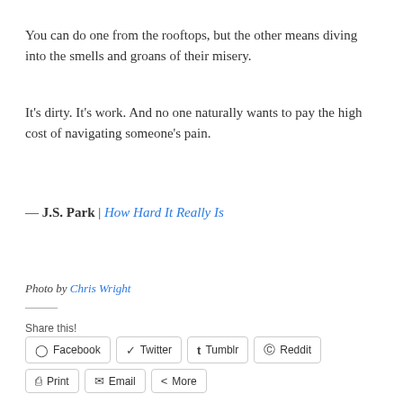You can do one from the rooftops, but the other means diving into the smells and groans of their misery.
It's dirty. It's work. And no one naturally wants to pay the high cost of navigating someone's pain.
— J.S. Park | How Hard It Really Is
Photo by Chris Wright
Share this!
Facebook | Twitter | Tumblr | Reddit | Print | Email | More